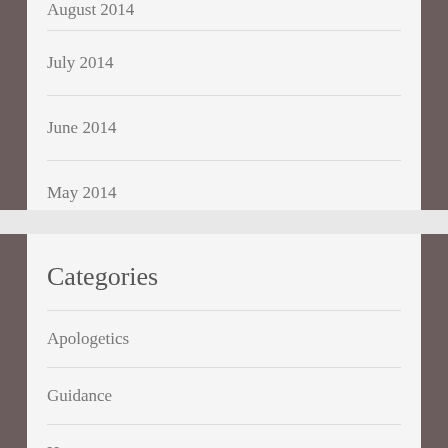August 2014
July 2014
June 2014
May 2014
Categories
Apologetics
Guidance
Humor
Inspiration